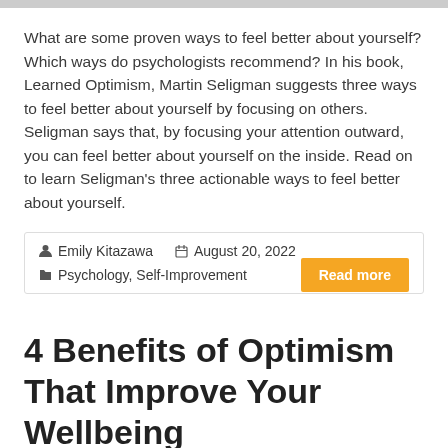What are some proven ways to feel better about yourself? Which ways do psychologists recommend? In his book, Learned Optimism, Martin Seligman suggests three ways to feel better about yourself by focusing on others. Seligman says that, by focusing your attention outward, you can feel better about yourself on the inside. Read on to learn Seligman's three actionable ways to feel better about yourself.
Emily Kitazawa  August 20, 2022  Psychology, Self-Improvement  Read more
4 Benefits of Optimism That Improve Your Wellbeing